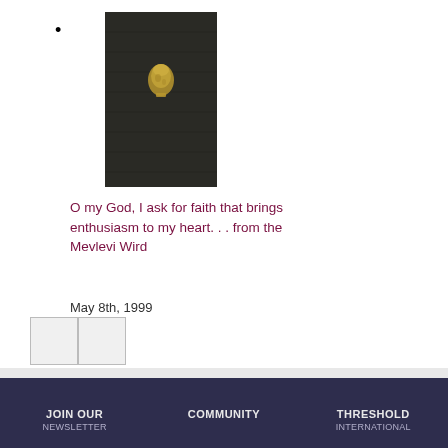•
[Figure (photo): Dark hardcover book with a small gold embossed bell or mushroom-shaped emblem on the cover]
O my God, I ask for faith that brings enthusiasm to my heart. . . from the Mevlevi Wird
May 8th, 1999
[Figure (other): Two navigation buttons (previous/next)]
JOIN OUR | COMMUNITY | THRESHOLD
NEWSLETTER | | INTERNATIONAL